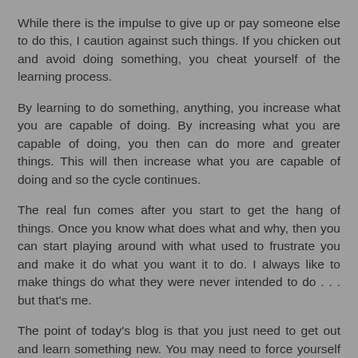While there is the impulse to give up or pay someone else to do this, I caution against such things. If you chicken out and avoid doing something, you cheat yourself of the learning process.
By learning to do something, anything, you increase what you are capable of doing. By increasing what you are capable of doing, you then can do more and greater things. This will then increase what you are capable of doing and so the cycle continues.
The real fun comes after you start to get the hang of things. Once you know what does what and why, then you can start playing around with what used to frustrate you and make it do what you want it to do. I always like to make things do what they were never intended to do . . . but that's me.
The point of today’s blog is that you just need to get out and learn something new. You may need to force yourself to stick with it, but it is worth it. For me, when I am frustrated, a quick Google Search gives me a nudge in the right direction.